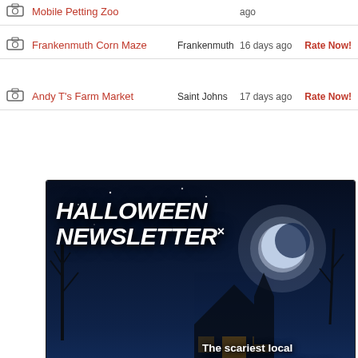|  | Name | Location | Time | Action |
| --- | --- | --- | --- | --- |
| 📷 | Mobile Petting Zoo |  | ago |  |
| 📷 | Frankenmuth Corn Maze | Frankenmuth | 16 days ago | Rate Now! |
| 📷 | Andy T's Farm Market | Saint Johns | 17 days ago | Rate Now! |
| 📷 | Miller's Family Orchard | Vassar | 15 days ago | Rate Now! |
| 📷 | Berwagana Campground Haunted Trail | Vassar | 408 days ago | 🎃🎃🎃🎃 |
| 📷 | Nightmare on Belknap Street | Grand Ledge | 2141 days | 🎃🎃 |
[Figure (infographic): Halloween Newsletter popup overlay with dark spooky background featuring a glowing jack-o-lantern, haunted house, moon and cemetery. Contains title 'HALLOWEEN NEWSLETTER', tagline 'The scariest local attractions and Halloween news to your inbox all season long', subtitle '• Michigan Edition •', email input field with placeholder '[your email]' and orange 'Join' button.]